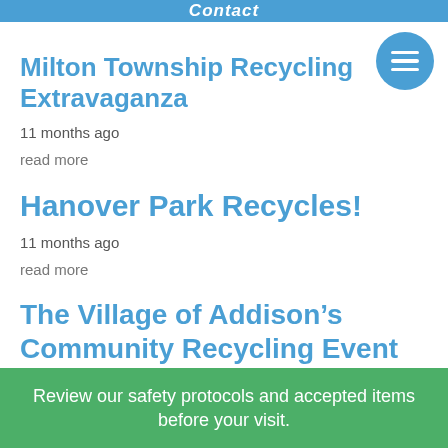Contact
Milton Township Recycling Extravaganza
11 months ago
read more
Hanover Park Recycles!
11 months ago
read more
The Village of Addison's Community Recycling Event
Review our safety protocols and accepted items before your visit.